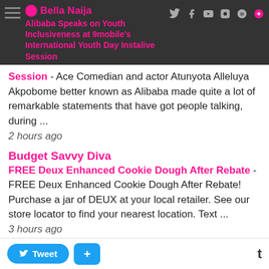Bella Naija - Alibaba Speaks on Youth Inclusiveness at 9mobile's International Youth Day Instalive Session
Session - Ace Comedian and actor Atunyota Alleluya Akpobome better known as Alibaba made quite a lot of remarkable statements that have got people talking, during ...
2 hours ago
Budget Savvy Diva
FREE Deux Enhanced Cookie Dough After Rebate - FREE Deux Enhanced Cookie Dough After Rebate! Purchase a jar of DEUX at your local retailer. See our store locator to find your nearest location. Text ...
3 hours ago
The Vegan Nigerian
Vegan Cheese and Poppy Seed Bread Rolls - Happy Saturday! I recently bought myself a *Danish dough whisk* after a friend recommended it. It's a tool that is designed to make dough and batter mix...
20 hours ago